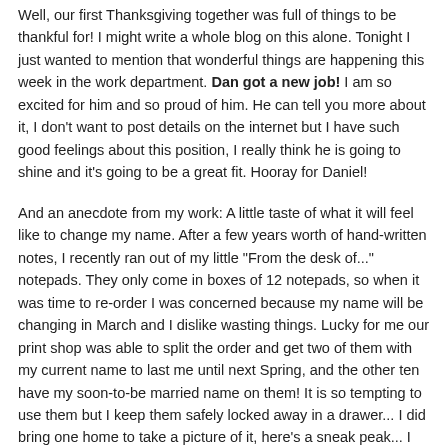Well, our first Thanksgiving together was full of things to be thankful for! I might write a whole blog on this alone. Tonight I just wanted to mention that wonderful things are happening this week in the work department. Dan got a new job! I am so excited for him and so proud of him. He can tell you more about it, I don't want to post details on the internet but I have such good feelings about this position, I really think he is going to shine and it's going to be a great fit. Hooray for Daniel!
And an anecdote from my work: A little taste of what it will feel like to change my name. After a few years worth of hand-written notes, I recently ran out of my little "From the desk of..." notepads. They only come in boxes of 12 notepads, so when it was time to re-order I was concerned because my name will be changing in March and I dislike wasting things. Lucky for me our print shop was able to split the order and get two of them with my current name to last me until next Spring, and the other ten have my soon-to-be married name on them! It is so tempting to use them but I keep them safely locked away in a drawer... I did bring one home to take a picture of it, here's a sneak peak... I think my